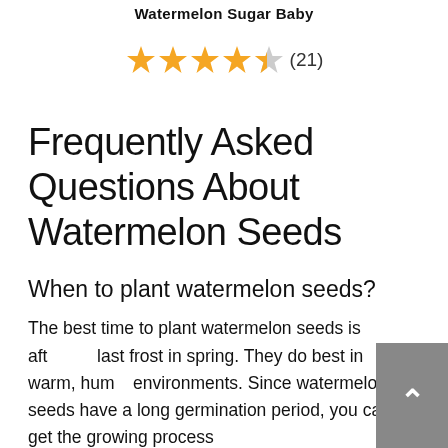Watermelon Sugar Baby
[Figure (other): Star rating: 4.5 stars out of 5, with 21 reviews]
Frequently Asked Questions About Watermelon Seeds
When to plant watermelon seeds?
The best time to plant watermelon seeds is aft[er the] last frost in spring. They do best in warm, hum[id] environments. Since watermelon seeds have a long germination period, you can get the growing process